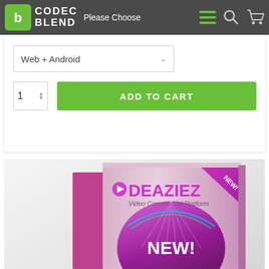[Figure (screenshot): CodecBlend website header with logo, hamburger menu, search icon, and cart icon on dark gray background]
Please Choose
Web + Android
1
ADD TO CART
[Figure (photo): Deaziez Video Commercial Platform software box product image with pink/purple design, play button logo, 'NEW!' badge in corner, and 'NEW!' text on front panel. Side reads 'THE FEATURED'.]